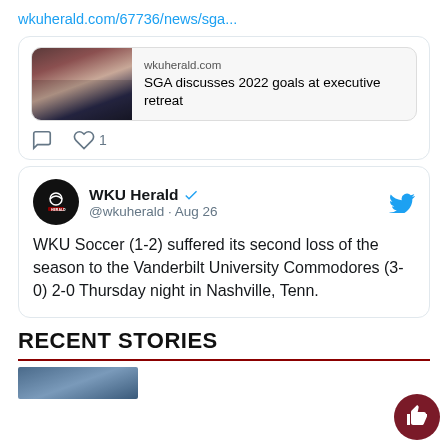wkuherald.com/67736/news/sga...
[Figure (screenshot): Article preview card showing a group photo with text: wkuherald.com / SGA discusses 2022 goals at executive retreat]
1 (like count)
[Figure (screenshot): Tweet from WKU Herald @wkuherald · Aug 26: WKU Soccer (1-2) suffered its second loss of the season to the Vanderbilt University Commodores (3-0)  2-0 Thursday night in Nashville, Tenn.]
RECENT STORIES
[Figure (photo): Partial photo at bottom of page]